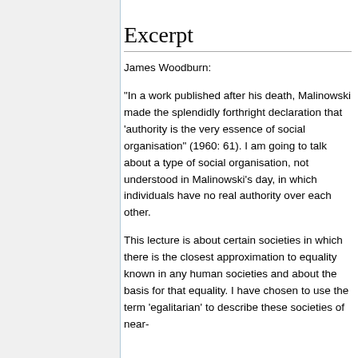Excerpt
James Woodburn:
"In a work published after his death, Malinowski made the splendidly forthright declaration that 'authority is the very essence of social organisation" (1960: 61). I am going to talk about a type of social organisation, not understood in Malinowski's day, in which individuals have no real authority over each other.
This lecture is about certain societies in which there is the closest approximation to equality known in any human societies and about the basis for that equality. I have chosen to use the term 'egalitarian' to describe these societies of near-